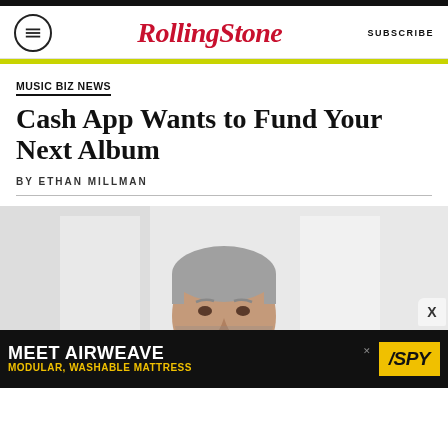RollingStone — SUBSCRIBE
MUSIC BIZ NEWS
Cash App Wants to Fund Your Next Album
BY ETHAN MILLMAN
[Figure (photo): Portrait photo of a middle-aged man with grey hair and a beard, smiling, wearing a dark shirt, light blurred background]
[Figure (infographic): Advertisement banner: MEET AIRWEAVE — MODULAR, WASHABLE MATTRESS with SPY logo on yellow background]